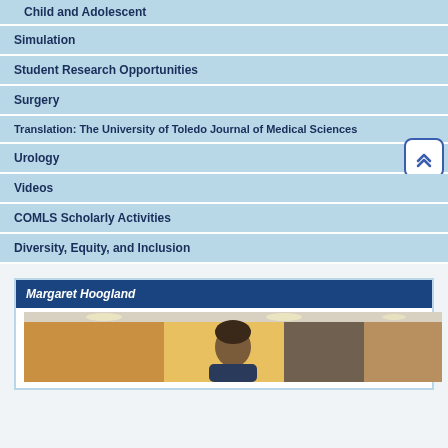Child and Adolescent
Simulation
Student Research Opportunities
Surgery
Translation: The University of Toledo Journal of Medical Sciences
Urology
Videos
COMLS Scholarly Activities
Diversity, Equity, and Inclusion
Margaret Hoogland
[Figure (photo): Profile photo of Margaret Hoogland, a person photographed indoors with warm-toned wood paneling and ceiling lights visible in the background.]